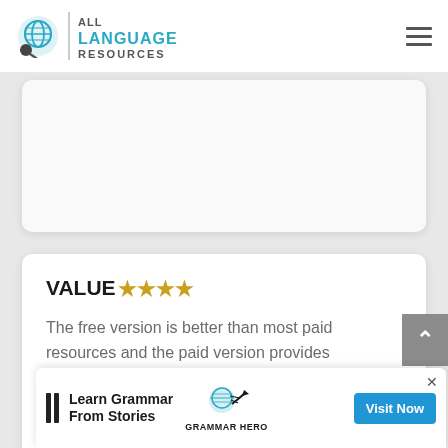ALL LANGUAGE RESOURCES
VALUE ★★★★ The free version is better than most paid resources and the paid version provides outstanding value.
[Figure (screenshot): Ad banner: Learn Grammar From Stories - Grammar Hero, Visit Now button]